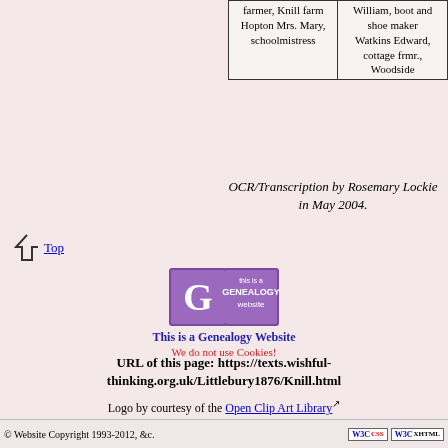|  |  |
| --- | --- |
| farmer, Knill farm
Hopton Mrs. Mary, schoolmistress | William, boot and shoe maker
Watkins Edward, cottage frmr., Woodside |
OCR/Transcription by Rosemary Lockie in May 2004.
Top
[Figure (logo): This is a Genealogy Website badge with large G logo]
This is a Genealogy Website
We do not use Cookies!
URL of this page: https://texts.wishful-thinking.org.uk/Littlebury1876/Knill.html
Logo by courtesy of the Open Clip Art Library
© Website Copyright 1993-2012, &c.